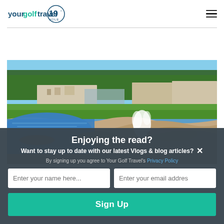[Figure (logo): Your Golf Travel 19th Hole logo with hamburger menu icon]
[Figure (photo): Scenic coastal golf course photo showing rocky shoreline with ocean waves, green fairway, and buildings/trees in background under clear blue sky]
Enjoying the read?
Want to stay up to date with our latest Vlogs & blog articles?
By signing up you agree to Your Golf Travel's Privacy Policy